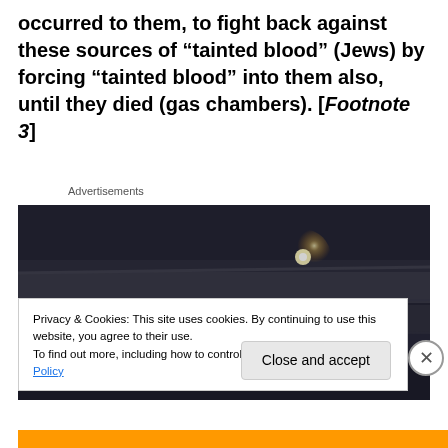occurred to them, to fight back against these sources of “tainted blood” (Jews) by forcing “tainted blood” into them also, until they died (gas chambers). [Footnote 3]
Advertisements
[Figure (photo): Dark atmospheric photo showing stone or concrete walls/beams with small glowing lights, resembling a historical underground or industrial space.]
Privacy & Cookies: This site uses cookies. By continuing to use this website, you agree to their use.
To find out more, including how to control cookies, see here: Cookie Policy